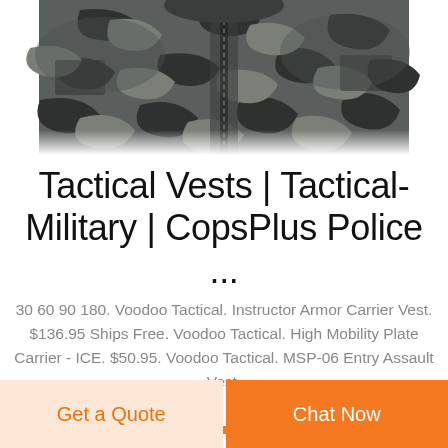[Figure (photo): Camouflage tactical/military jacket or vest, shown from front, dark grey/black camo pattern, cropped at bottom of image]
Tactical Vests | Tactical-Military | CopsPlus Police ...
30 60 90 180. Voodoo Tactical. Instructor Armor Carrier Vest. $136.95 Ships Free. Voodoo Tactical. High Mobility Plate Carrier - ICE. $50.95. Voodoo Tactical. MSP-06 Entry Assault Vest.
[Figure (other): Partial orange button/bar visible at top of bottom action bar area]
Get a Quote
Chat Now